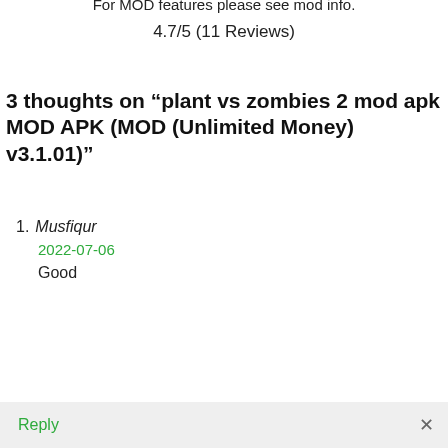For MOD features please see mod info.
4.7/5 (11 Reviews)
3 thoughts on “plant vs zombies 2 mod apk MOD APK (MOD (Unlimited Money) v3.1.01)”
Musfiqur
2022-07-06
Good
Reply